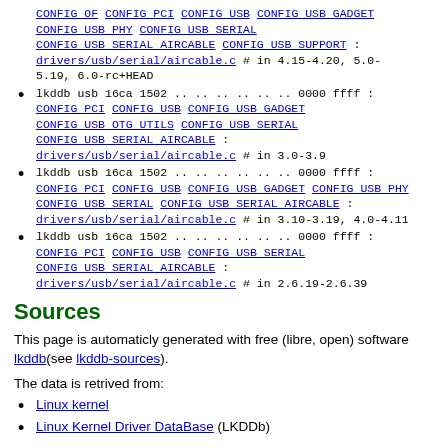lkddb usb 16ca 1502 .. .. .. .. .. .. 0000 ffff : CONFIG OF CONFIG PCI CONFIG USB CONFIG USB GADGET CONFIG USB PHY CONFIG USB SERIAL CONFIG USB SERIAL AIRCABLE CONFIG USB SUPPORT : drivers/usb/serial/aircable.c # in 4.15-4.20, 5.0-5.19, 6.0-rc+HEAD
lkddb usb 16ca 1502 .. .. .. .. .. .. 0000 ffff : CONFIG PCI CONFIG USB CONFIG USB GADGET CONFIG USB OTG UTILS CONFIG USB SERIAL CONFIG USB SERIAL AIRCABLE : drivers/usb/serial/aircable.c # in 3.0-3.9
lkddb usb 16ca 1502 .. .. .. .. .. .. 0000 ffff : CONFIG PCI CONFIG USB CONFIG USB GADGET CONFIG USB PHY CONFIG USB SERIAL CONFIG USB SERIAL AIRCABLE : drivers/usb/serial/aircable.c # in 3.10-3.19, 4.0-4.11
lkddb usb 16ca 1502 .. .. .. .. .. .. 0000 ffff : CONFIG PCI CONFIG USB CONFIG USB SERIAL CONFIG USB SERIAL AIRCABLE : drivers/usb/serial/aircable.c # in 2.6.19-2.6.39
Sources
This page is automaticly generated with free (libre, open) software lkddb(see lkddb-sources).
The data is retrived from:
Linux kernel
Linux Kernel Driver DataBase (LKDDb)